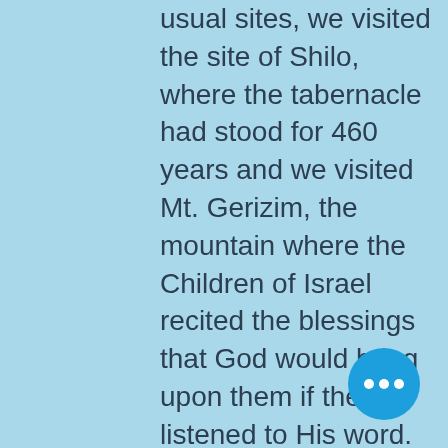usual sites, we visited the site of Shilo, where the tabernacle had stood for 460 years and we visited Mt. Gerizim, the mountain where the Children of Israel recited the blessings that God would bring upon them if they listened to His word. We visited the tombs of the forefathers in Hebron. It was especially happy there because people had come from all over Israel to celebrate. They had even come from all over the world. We even hiked to the top of the hill where archaeologists had discovered the massive Bronze Age walls of a palace or fortress. (This was the time of father Abraham, who lived in Hebron).
I don't regard this as proof that Abraham lived there, that's a matter of